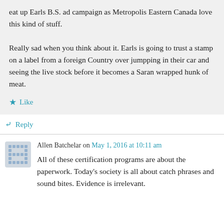eat up Earls B.S. ad campaign as Metropolis Eastern Canada love this kind of stuff.
Really sad when you think about it. Earls is going to trust a stamp on a label from a foreign Country over jumpping in their car and seeing the live stock before it becomes a Saran wrapped hunk of meat.
Like
Reply
Allen Batchelar on May 1, 2016 at 10:11 am
All of these certification programs are about the paperwork. Today's society is all about catch phrases and sound bites. Evidence is irrelevant.